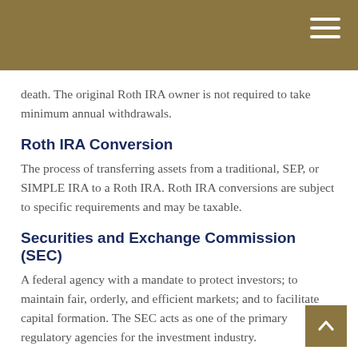death. The original Roth IRA owner is not required to take minimum annual withdrawals.
Roth IRA Conversion
The process of transferring assets from a traditional, SEP, or SIMPLE IRA to a Roth IRA. Roth IRA conversions are subject to specific requirements and may be taxable.
Securities and Exchange Commission (SEC)
A federal agency with a mandate to protect investors; to maintain fair, orderly, and efficient markets; and to facilitate capital formation. The SEC acts as one of the primary regulatory agencies for the investment industry.
Self-Directed IRA